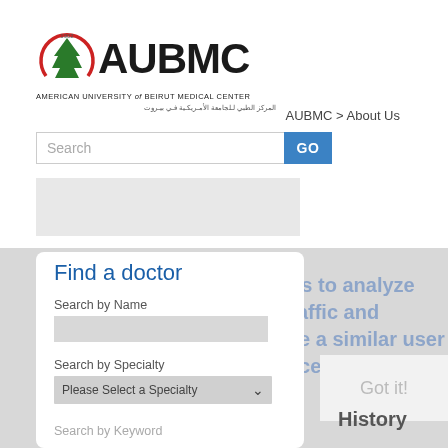[Figure (logo): AUBMC logo with cedar tree and red circle, text: AMERICAN UNIVERSITY of BEIRUT MEDICAL CENTER with Arabic text below]
AUBMC > About Us
Search
GO
Find a doctor
Search by Name
Search by Specialty
Please Select a Specialty
Search by Keyword
cookies to analyze web traffic and provide a similar user interface
Got it!
History